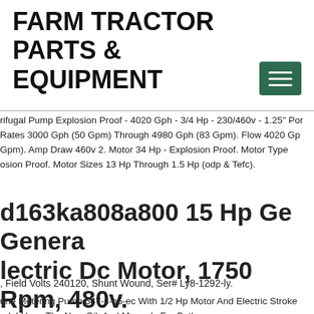FARM TRACTOR PARTS & EQUIPMENT
rifugal Pump Explosion Proof - 4020 Gph - 3/4 Hp - 230/460v - 1.25" Por Rates 3000 Gph (50 Gpm) Through 4980 Gph (83 Gpm). Flow 4020 Gp Gpm). Amp Draw 460v 2. Motor 34 Hp - Explosion Proof. Motor Type osion Proof. Motor Sizes 13 Hp Through 1.5 Hp (odp & Tefc).
d163ka808a800 15 Hp Ge General Electric Dc Motor, 1750 Rpm, 480v. d258ay
, Field Volts 240120, Shunt Wound, Ser# Ly8-1292-ly.
une Metering Pump 547-s-n5-ec With 1/2 Hp Motor And Electric Stroke rol. I Have The New Oil, And Manuals For Both.